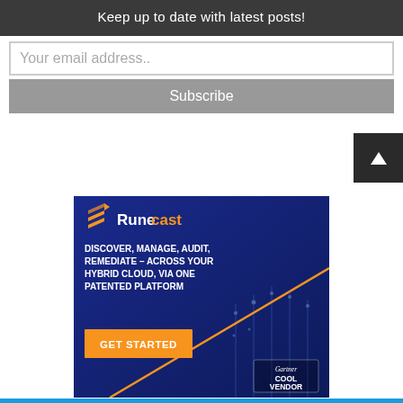Keep up to date with latest posts!
Your email address..
Subscribe
[Figure (illustration): Runecast advertisement banner with dark blue background, logo, tagline 'DISCOVER, MANAGE, AUDIT, REMEDIATE – ACROSS YOUR HYBRID CLOUD, VIA ONE PATENTED PLATFORM', orange GET STARTED button, Gartner Cool Vendor badge, and diagonal orange accent line.]